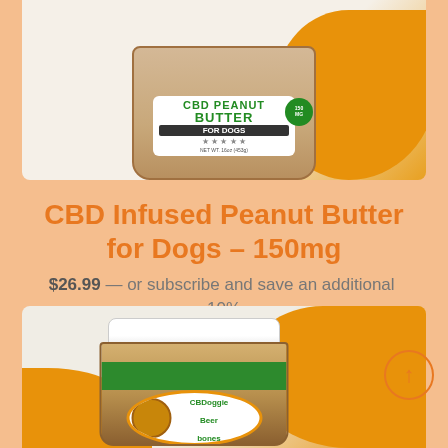[Figure (photo): Product photo of CBD Infused Peanut Butter for Dogs 150mg jar, shown on orange and cream background]
CBD Infused Peanut Butter for Dogs – 150mg
$26.99 — or subscribe and save an additional 10%
[Figure (photo): Second product photo showing a jar of CBDoggie Beer Bones peanut butter with white lid, green stripe, and round label with dog logo, on orange and cream background]